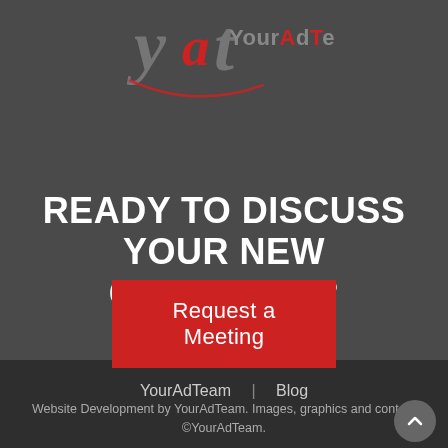[Figure (logo): YourAdTeam logo with stylized 'yat' handwritten letters in red/grey and text 'YourAdTeam' with colored letters]
READY TO DISCUSS YOUR NEW CAMPAIGN ?
Request a Meeting
YourAdTeam | Blog
Website Development by YourAdTeam. Images, graphics and content ©YourAdTeam.